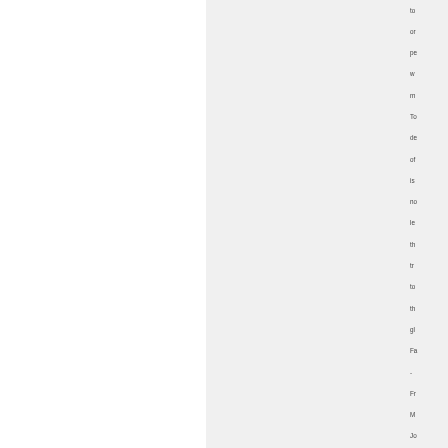to or pe w m To de of is no le th tr to th gl Fa - Fr M Jo vo La